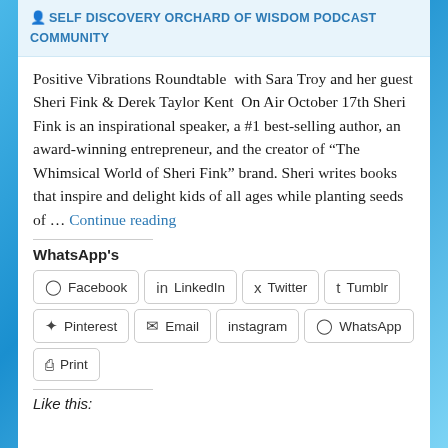SELF DISCOVERY ORCHARD OF WISDOM PODCAST COMMUNITY
Positive Vibrations Roundtable  with Sara Troy and her guest Sheri Fink & Derek Taylor Kent  On Air October 17th Sheri Fink is an inspirational speaker, a #1 best-selling author, an award-winning entrepreneur, and the creator of “The Whimsical World of Sheri Fink” brand. Sheri writes books that inspire and delight kids of all ages while planting seeds of … Continue reading
WhatsApp's
Facebook  LinkedIn  Twitter  Tumblr  Pinterest  Email  instagram  WhatsApp  Print
Like this: